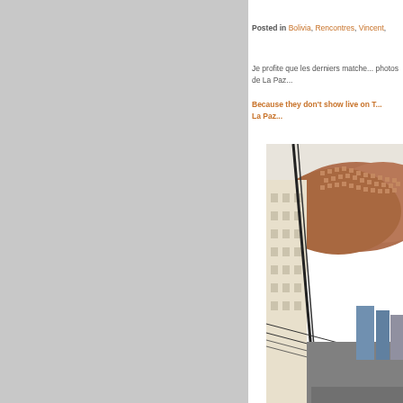Posted in Bolivia, Rencontres, Vincent,
Je profite que les derniers matches... photos de La Paz...
Because they don't show live on T... La Paz...
[Figure (photo): Street-level photograph of La Paz, Bolivia, showing a steep street with tall buildings on the left, power lines, and a hillside densely covered with brick houses in the background under a pale sky.]